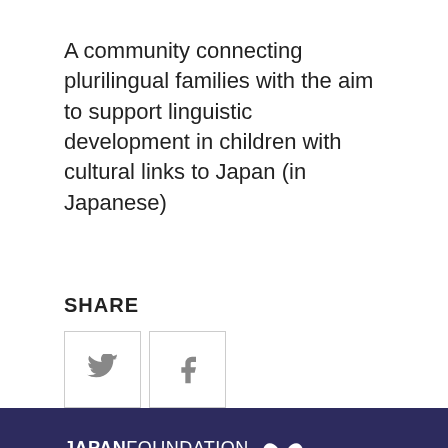A community connecting plurilingual families with the aim to support linguistic development in children with cultural links to Japan (in Japanese)
SHARE
[Figure (other): Social share buttons: Twitter (bird icon) and Facebook (f icon) in square bordered boxes]
[Figure (logo): Japan Foundation logo with butterfly icon and tagline BRINGING JAPAN TO YOU]
EVENTS
GALLERY